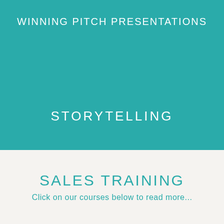WINNING PITCH PRESENTATIONS
STORYTELLING
SALES TRAINING
Click on our courses below to read more...